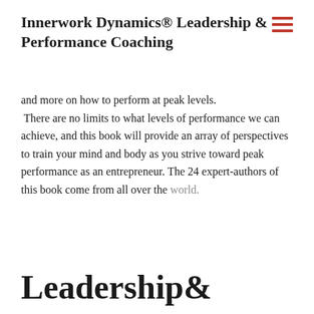Innerwork Dynamics® Leadership & Performance Coaching
and more on how to perform at peak levels. There are no limits to what levels of performance we can achieve, and this book will provide an array of perspectives to train your mind and body as you strive toward peak performance as an entrepreneur. The 24 expert-authors of this book come from all over the world.
Leadership&